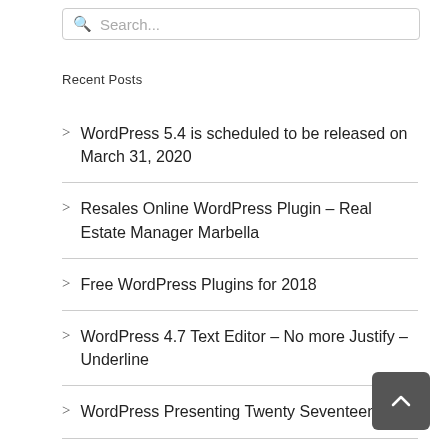Search...
Recent Posts
WordPress 5.4 is scheduled to be released on March 31, 2020
Resales Online WordPress Plugin – Real Estate Manager Marbella
Free WordPress Plugins for 2018
WordPress 4.7 Text Editor – No more Justify – Underline
WordPress Presenting Twenty Seventeen